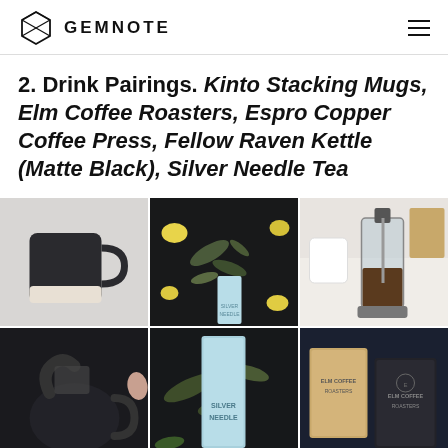GEMNOTE
2. Drink Pairings. Kinto Stacking Mugs, Elm Coffee Roasters, Espro Copper Coffee Press, Fellow Raven Kettle (Matte Black), Silver Needle Tea
[Figure (photo): Grid of 6 product photos: stacking mug (matte black/cream), tea leaves with yellow flowers and silver needle tea box, French press coffee maker, Fellow Raven kettle being used, Silver Needle tea box close-up, Elm Coffee Roasters bags on dark background]